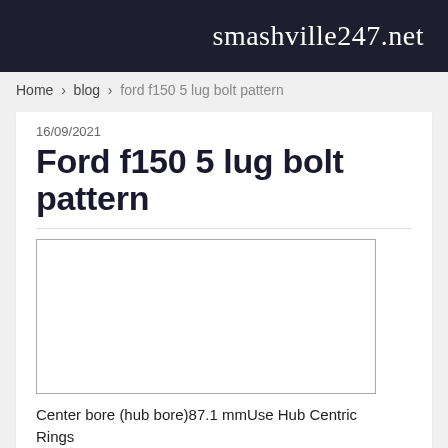smashville247.net
Home › blog › ford f150 5 lug bolt pattern
16/09/2021
Ford f150 5 lug bolt pattern
[Figure (other): Empty white image placeholder with gray border]
Center bore (hub bore)87.1 mmUse Hub Centric Rings